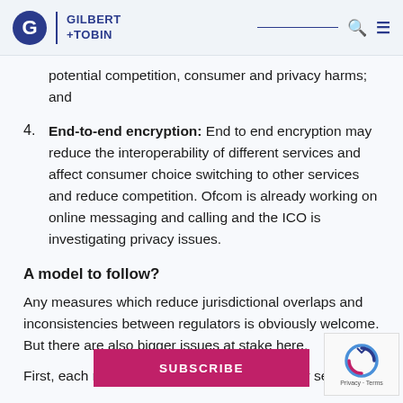Gilbert + Tobin
potential competition, consumer and privacy harms; and
4. End-to-end encryption: End to end encryption may reduce the interoperability of different services and affect consumer choice switching to other services and reduce competition. Ofcom is already working on online messaging and calling and the ICO is investigating privacy issues.
A model to follow?
Any measures which reduce jurisdictional overlaps and inconsistencies between regulators is obviously welcome. But there are also bigger issues at stake here.
First, each regulator has a specific mandate or set of